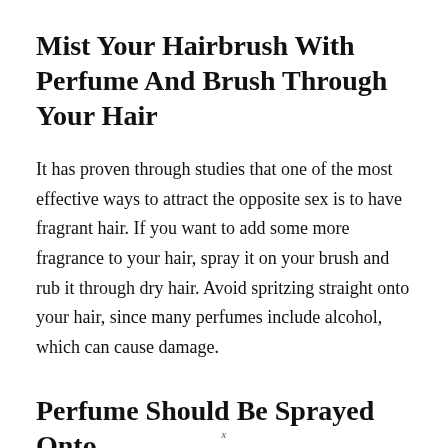Mist Your Hairbrush With Perfume And Brush Through Your Hair
It has proven through studies that one of the most effective ways to attract the opposite sex is to have fragrant hair. If you want to add some more fragrance to your hair, spray it on your brush and rub it through dry hair. Avoid spritzing straight onto your hair, since many perfumes include alcohol, which can cause damage.
Perfume Should Be Sprayed Onto
x